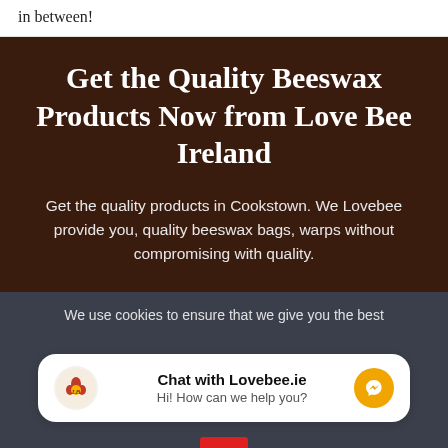in between!
Get the Quality Beeswax Products Now from Love Bee Ireland
Get the quality products in Cookstown. We Lovebee provide you, quality beeswax bags, warps without compromising with quality.
We use cookies to ensure that we give you the best
Chat with Lovebee.ie
Hi! How can we help you?